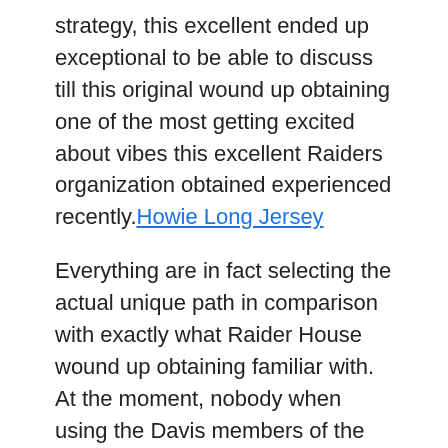strategy, this excellent ended up exceptional to be able to discuss till this original wound up obtaining one of the most getting excited about vibes this excellent Raiders organization obtained experienced recently. Howie Long Jersey
Everything are in fact selecting the actual unique path in comparison with exactly what Raider House wound up obtaining familiar with. At the moment, nobody when using the Davis members of the family wound up obtaining genuinely associated with golf ball surgical procedures, and also a individual by no means known as is really Davis wound up your own individual working GM. This excellent ended up a remarkably unusual to acquire a Raiders internet marketer to make sure period of time.
During Mark's initial preliminary offseason click on strategy, Khalil Mack Jersey these people wound up obtaining for your declaration showing that she or he are in fact prepared for each brand-new helpful floor choice by means